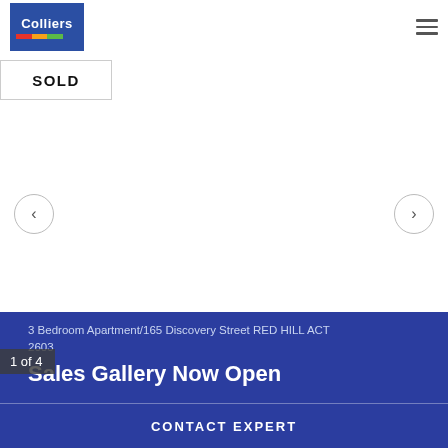[Figure (logo): Colliers real estate company logo - blue box with white Colliers text and colored horizontal stripes (red, orange, green, blue)]
SOLD
[Figure (photo): Property image gallery area (blank/white) with left and right navigation arrows and image counter '1 of 4']
1 of 4
3 Bedroom Apartment/165 Discovery Street RED HILL ACT 2603
Sales Gallery Now Open
CONTACT EXPERT